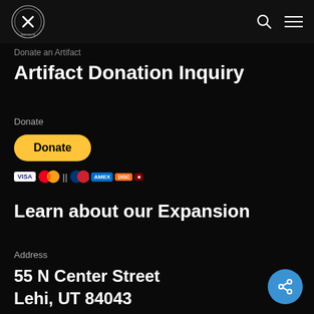Museum/Institute logo, search icon, menu icon
Donate an Artifact
Artifact Donation Inquiry
Donate
[Figure (screenshot): PayPal Donate button (yellow pill shape) with payment card icons below: VISA, Mastercard, Maestro, American Express, Discover, and one more card]
Learn about our Expansion
Address
55 N Center Street
Lehi, UT 84043